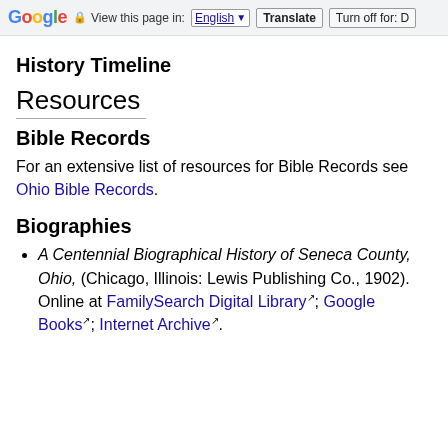Google  View this page in: English [▼]  Translate  Turn off for: D
History Timeline
Resources
Bible Records
For an extensive list of resources for Bible Records see Ohio Bible Records.
Biographies
A Centennial Biographical History of Seneca County, Ohio, (Chicago, Illinois: Lewis Publishing Co., 1902). Online at FamilySearch Digital Library; Google Books; Internet Archive.